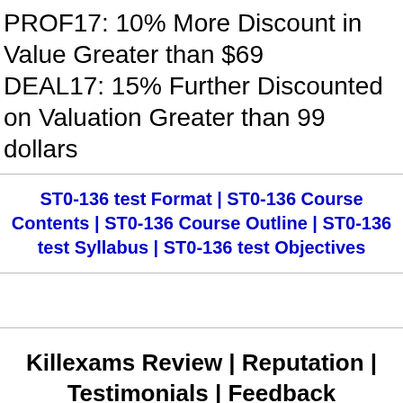PROF17: 10% More Discount in Value Greater than $69
DEAL17: 15% Further Discounted on Valuation Greater than 99 dollars
ST0-136 test Format | ST0-136 Course Contents | ST0-136 Course Outline | ST0-136 test Syllabus | ST0-136 test Objectives
Killexams Review | Reputation | Testimonials | Feedback